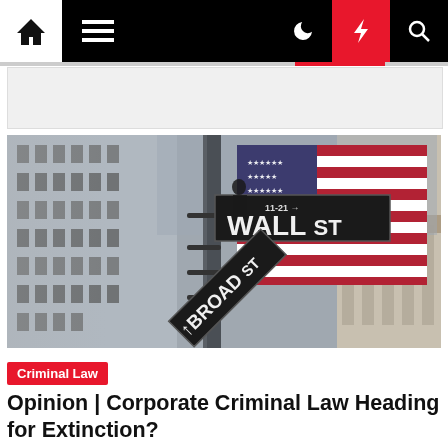Navigation bar with home, menu, dark mode, lightning/breaking news, and search icons
[Figure (photo): Street-level photo of the Wall St and Broad St signs mounted on a pole, with an American flag and New York Stock Exchange building in the background]
Criminal Law
Opinion | Corporate Criminal Law Heading for Extinction?